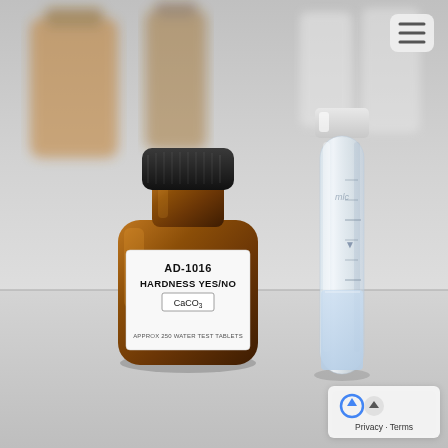[Figure (photo): A laboratory setting showing an amber glass bottle labeled 'AD-1016 HARDNESS YES/NO CaCO3 APPROX 250 WATER TEST TABLETS' next to a clear plastic test tube/vial partially filled with water. Background shows blurred laboratory bottles on a gray/white surface. A hamburger menu icon appears in the top right corner, and a Privacy-Terms badge appears in the bottom right corner.]